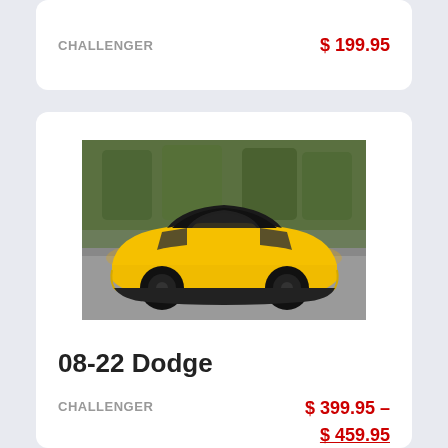CHALLENGER
$ 199.95
[Figure (photo): Yellow and black Dodge Challenger muscle car parked in a lot with green trees in the background]
08-22 Dodge
CHALLENGER
$ 399.95 – $ 459.95